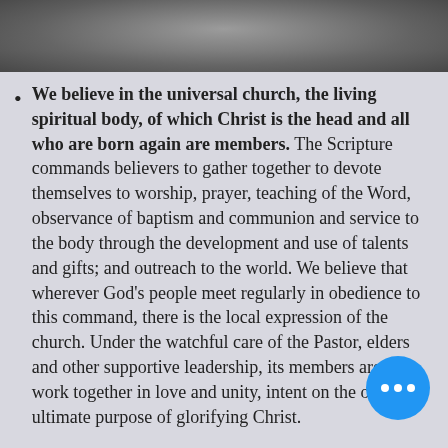[Figure (photo): Black and white photo at the top of the page, partially visible, showing a blurred or abstract subject.]
We believe in the universal church, the living spiritual body, of which Christ is the head and all who are born again are members. The Scripture commands believers to gather together to devote themselves to worship, prayer, teaching of the Word, observance of baptism and communion and service to the body through the development and use of talents and gifts; and outreach to the world. We believe that wherever God's people meet regularly in obedience to this command, there is the local expression of the church. Under the watchful care of the Pastor, elders and other supportive leadership, its members are to work together in love and unity, intent on the one ultimate purpose of glorifying Christ.